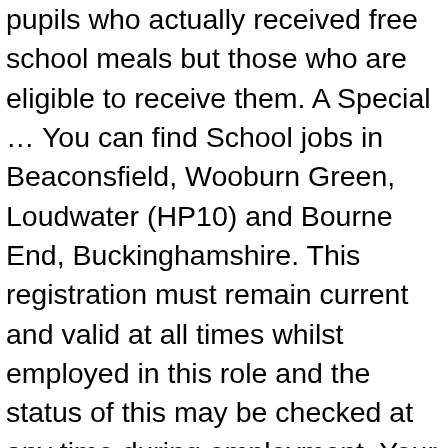pupils who actually received free school meals but those who are eligible to receive them. A Special … You can find School jobs in Beaconsfield, Wooburn Green, Loudwater (HP10) and Bourne End, Buckinghamshire. This registration must remain current and valid at all times whilst employed in this role and the status of this may be checked at any time during employment. Your search for Beaconsfield School jobs did not match any jobs.. Engineering are responsible for technical areas around the school including the Technical Stores, Cinema, Dubbing Theatres, Television Studio, Editing, Sound Design and Composing suites. View the profiles of professionals named "Sarah Sweetman" on LinkedIn. The Beaconsfield School, Beaconsfield, Buckinghamshire. There are 157 School jobs within 10 miles of Beaconsfield available on totaljobs.com right now. Beaconsfield High School | 225 Follower auf LinkedIn Where exceptional young people dare to be remarkable. We have 870 students, with a growing 6th form and just fewer than 100 staff at the school. Innovate Services Ltd are an Award-Winning Contract Catering Company specifically catering for Schools and